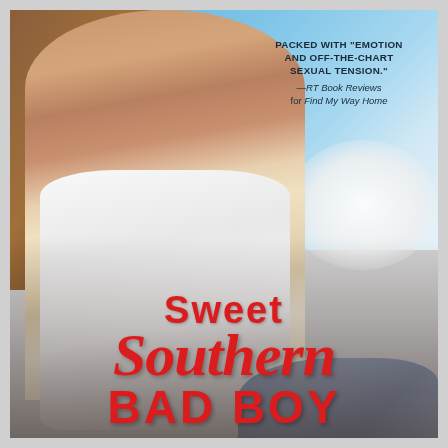[Figure (illustration): Book cover showing a muscular man in a white tank top with tattoos, leaning against a wooden post, with a blue sky and clouds in the background. Red title text overlays the lower portion of the image.]
PACKED WITH "EMOTION AND OFF-THE-CHART SEXUAL TENSION." —RT Book Reviews for Find My Way Home
Sweet Southern BAD BOY